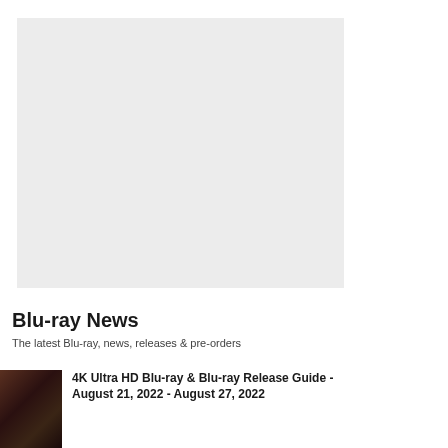[Figure (other): Gray placeholder rectangle for an advertisement or image]
Blu-ray News
The latest Blu-ray, news, releases & pre-orders
[Figure (photo): Thumbnail image showing a dark scene, appears to be a movie still with an animal or creature]
4K Ultra HD Blu-ray & Blu-ray Release Guide - August 21, 2022 - August 27, 2022